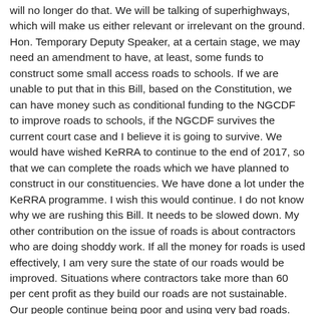will no longer do that. We will be talking of superhighways, which will make us either relevant or irrelevant on the ground. Hon. Temporary Deputy Speaker, at a certain stage, we may need an amendment to have, at least, some funds to construct some small access roads to schools. If we are unable to put that in this Bill, based on the Constitution, we can have money such as conditional funding to the NGCDF to improve roads to schools, if the NGCDF survives the current court case and I believe it is going to survive. We would have wished KeRRA to continue to the end of 2017, so that we can complete the roads which we have planned to construct in our constituencies. We have done a lot under the KeRRA programme. I wish this would continue. I do not know why we are rushing this Bill. It needs to be slowed down. My other contribution on the issue of roads is about contractors who are doing shoddy work. If all the money for roads is used effectively, I am very sure the state of our roads would be improved. Situations where contractors take more than 60 per cent profit as they build our roads are not sustainable. Our people continue being poor and using very bad roads. Proper utilisation of funds needs to be encouraged. In fact, a standard unit cost of putting murram on our roads or tarmacking based on classification needs to be availed, so that we have a certain